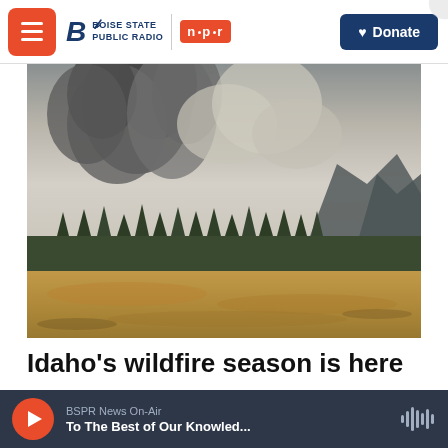BOISE STATE PUBLIC RADIO | npr — Donate
[Figure (photo): Wildfire scene showing massive smoke plumes rising above a forested mountain ridge with dry golden grassland in the foreground, Idaho wildfire.]
Idaho's wildfire season is here
BSPR News On-Air — To The Best of Our Knowled...